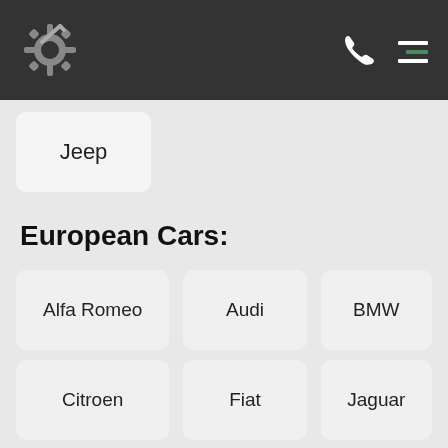Navigation header with logo, phone icon, and menu icon
Jeep
European Cars:
Alfa Romeo
Audi
BMW
Citroen
Fiat
Jaguar
Land Rover
Mercedes
Peugeot
Porsche
Renault